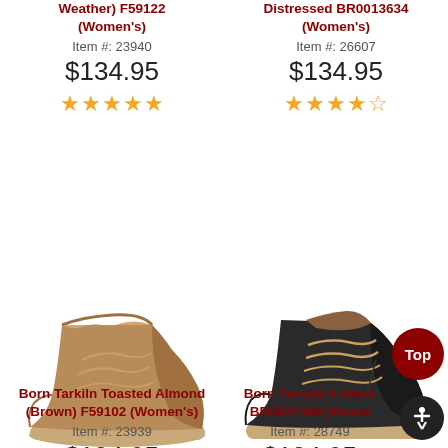Weather) F59122 (Women's)
Item #: 23940
$134.95
★★★★★
Distressed BR0013634 (Women's)
Item #: 26607
$134.95
★★★★★
[Figure (photo): Born Tarkiln Toasted Almond brown boot, ankle height, lace-up style with wrap laces, suede/leather upper, crepe sole]
Born Tarkiln Toasted Almond (Brown) F59102 (Women's)
Item #: 23939
$134.95
[Figure (photo): Born Temple II Black boot, ankle height, lace-up style with tan/brown laces, dark leather upper, crepe sole]
Born Temple II Black BR0027409 (Women's)
Item #: 28749
$134.95